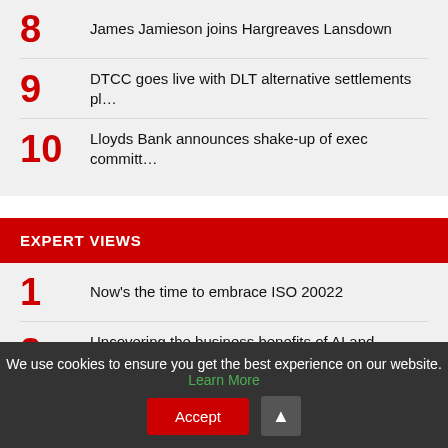8  James Jamieson joins Hargreaves Lansdown
9  DTCC goes live with DLT alternative settlements pl…
10  Lloyds Bank announces shake-up of exec committ…
EXPERT VIEWS
1  Now's the time to embrace ISO 20022
2  Uncovering the business benefits of AI and Machi…
We use cookies to ensure you get the best experience on our website. Learn More  Accept